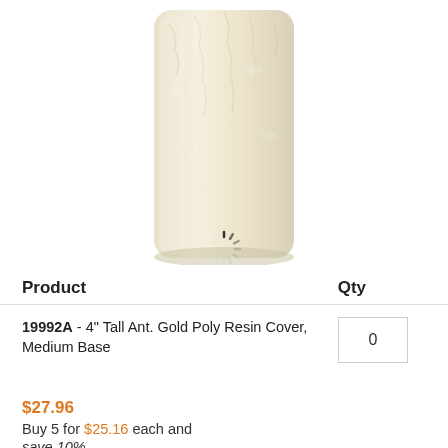[Figure (photo): A tall ivory/cream colored pillar candle with dripped wax texture, shown on white background. A loading spinner icon appears below the candle image.]
| Product | Qty |
| --- | --- |
| 19992A - 4" Tall Ant. Gold Poly Resin Cover, Medium Base | 0 |
$27.96
Buy 5 for $25.16 each and save 10%